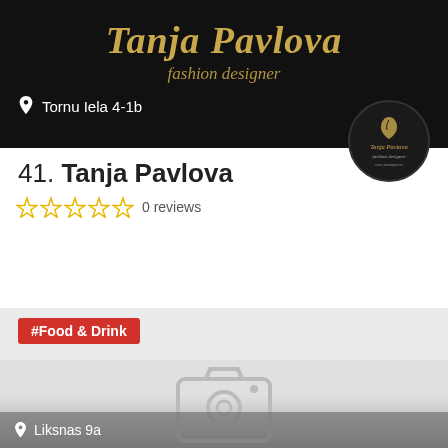[Figure (screenshot): Dark banner with fashion designer branding: 'Tanja Pavlova' in gold italic serif font, 'fashion designer' subtitle in gold italic, address 'Tornu Iela 4-1b' in white with pin icon. Circular logo badge overlaps bottom right corner.]
41. Tanja Pavlova
0 reviews
#Food & Drink
[Figure (photo): Placeholder image with camera icon on grey gradient background]
Liksnas 9a